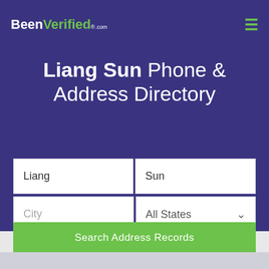BeenVerified.com
Liang Sun Phone & Address Directory
Liang | Sun
City | All States
SEARCH
Search Address Records